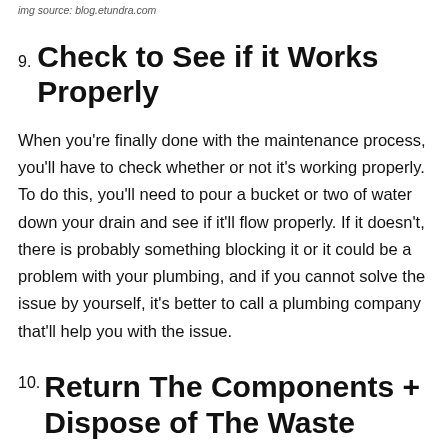img source: blog.etundra.com
9. Check to See if it Works Properly
When you're finally done with the maintenance process, you'll have to check whether or not it's working properly. To do this, you'll need to pour a bucket or two of water down your drain and see if it'll flow properly. If it doesn't, there is probably something blocking it or it could be a problem with your plumbing, and if you cannot solve the issue by yourself, it's better to call a plumbing company that'll help you with the issue.
10. Return The Components + Dispose of The Waste
In the...